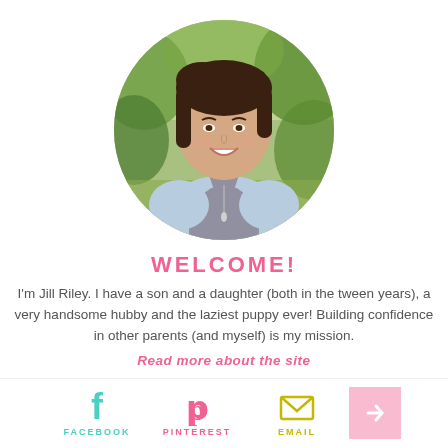[Figure (photo): Circular portrait photo of a woman with dark hair smiling, wearing a light blue shirt over a grey top, with green foliage in the background.]
WELCOME!
I'm Jill Riley. I have a son and a daughter (both in the tween years), a very handsome hubby and the laziest puppy ever! Building confidence in other parents (and myself) is my mission.
Read more about the site
[Figure (illustration): Social media icons row: Facebook (f), Pinterest (p), Email (envelope), and a pink box with an arrow icon. Labels below: FACEBOOK, PINTEREST, EMAIL.]